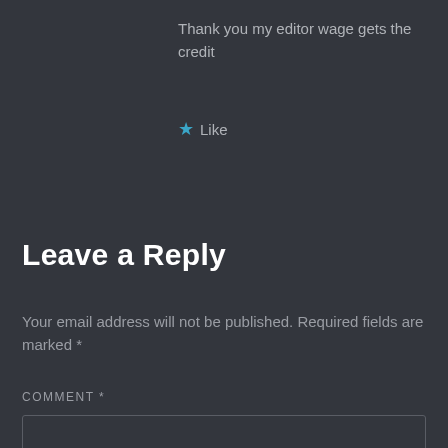Thank you my editor wage gets the credit
★ Like
Leave a Reply
Your email address will not be published. Required fields are marked *
COMMENT *